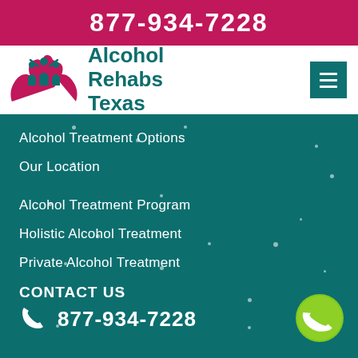877-934-7228
[Figure (logo): Alcohol Rehabs Texas logo with pink hands and teal figures above, brand name in teal text]
Alcohol Treatment Options
Our Location
Alcohol Treatment Program
Holistic Alcohol Treatment
Private Alcohol Treatment
CONTACT US
877-934-7228